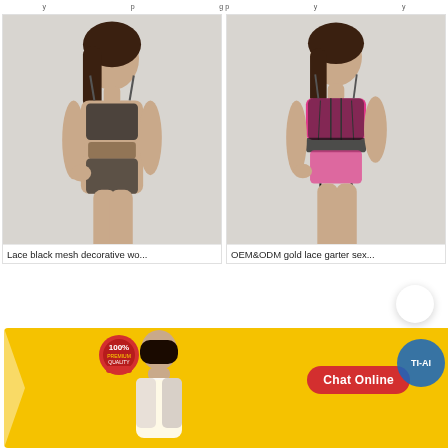y   p   g p y   y
[Figure (photo): Woman wearing black lace mesh decorative lingerie bodysuit on grey background]
Lace black mesh decorative wo...
[Figure (photo): Woman wearing OEM&ODM gold lace garter pink and black lingerie on grey background]
OEM&ODM gold lace garter sex...
[Figure (photo): Chat Online banner with yellow background, woman, 100% premium quality badge, Chat Online button, and company logo]